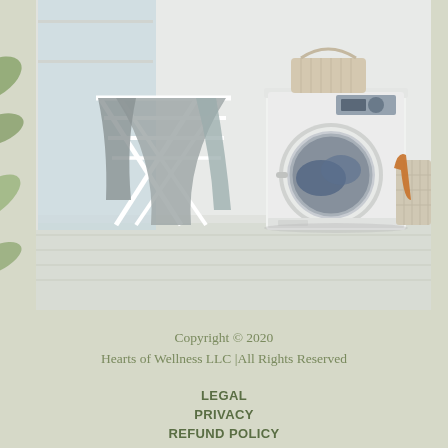[Figure (photo): Laundry room scene with a white front-loading washing machine, a white folding clothes drying rack with gray garments hanging on it, a woven basket with an orange towel on the right, and a small woven basket on top of the washing machine. Light wood floor, white walls, natural light from a window on the left.]
Copyright © 2020
Hearts of Wellness LLC |All Rights Reserved
LEGAL
PRIVACY
REFUND POLICY